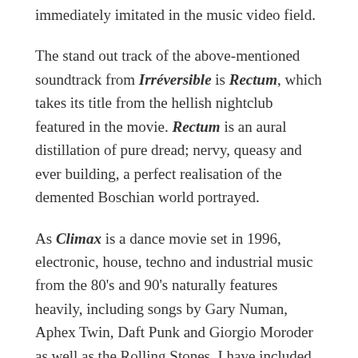immediately imitated in the music video field.
The stand out track of the above-mentioned soundtrack from Irréversible is Rectum, which takes its title from the hellish nightclub featured in the movie. Rectum is an aural distillation of pure dread; nervy, queasy and ever building, a perfect realisation of the demented Boschian world portrayed.
As Climax is a dance movie set in 1996, electronic, house, techno and industrial music from the 80's and 90's naturally features heavily, including songs by Gary Numan, Aphex Twin, Daft Punk and Giorgio Moroder as well as the Rolling Stones. I have included below two tracks, Lil Louis's seminal Chicago House track French Kiss, which includes some of the heaviest and sexiest deep breathing on